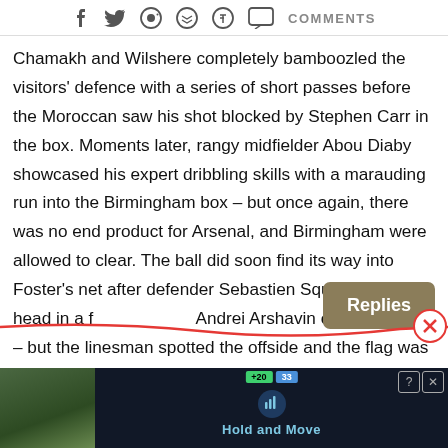f  twitter  whatsapp  reddit  pinterest  [chat]  COMMENTS
Chamakh and Wilshere completely bamboozled the visitors' defence with a series of short passes before the Moroccan saw his shot blocked by Stephen Carr in the box. Moments later, rangy midfielder Abou Diaby showcased his expert dribbling skills with a marauding run into the Birmingham box – but once again, there was no end product for Arsenal, and Birmingham were allowed to clear. The ball did soon find its way into Foster's net after defender Sebastien Squillaci rose to head in a f[ree kick from] Andrei Arshavin on 18 minutes – but the linesman spotted the offside and the flag was raised to disallow the goal. Birmingham then took an unlikely lead after 33 mi[nutes]
[Figure (screenshot): Ad banner at bottom showing 'Hold and Move' app with person icon on dark background. Green tag '+20' and blue tag '33' visible. Help and close buttons top right.]